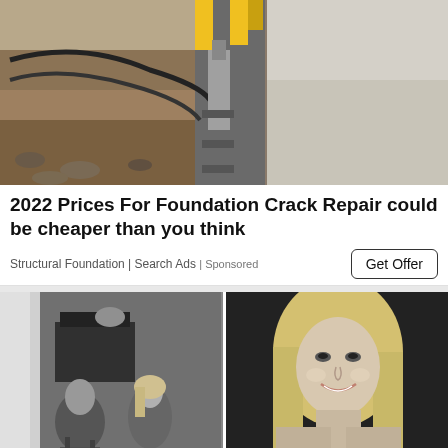[Figure (photo): Construction/engineering photo showing foundation crack repair equipment with yellow hydraulic tools mounted against a concrete wall, with excavated dirt on the left side]
2022 Prices For Foundation Crack Repair could be cheaper than you think
Structural Foundation | Search Ads | Sponsored
[Figure (photo): Black and white photo of two women in what appears to be a home interior with a piano in the background]
[Figure (photo): Black and white portrait photo of a smiling blonde woman]